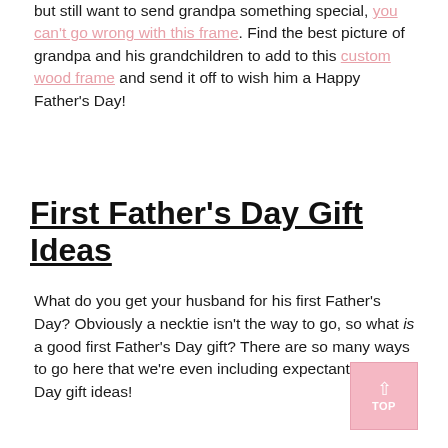but still want to send grandpa something special, you can't go wrong with this frame. Find the best picture of grandpa and his grandchildren to add to this custom wood frame and send it off to wish him a Happy Father's Day!
First Father's Day Gift Ideas
What do you get your husband for his first Father's Day? Obviously a necktie isn't the way to go, so what is a good first Father's Day gift? There are so many ways to go here that we're even including expectant Father's Day gift ideas!